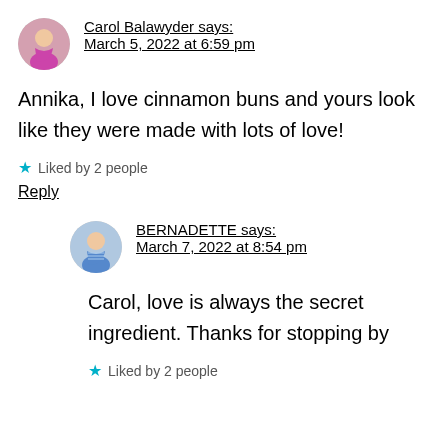Carol Balawyder says: March 5, 2022 at 6:59 pm
Annika, I love cinnamon buns and yours look like they were made with lots of love!
★ Liked by 2 people
Reply
BERNADETTE says: March 7, 2022 at 8:54 pm
Carol, love is always the secret ingredient. Thanks for stopping by
★ Liked by 2 people